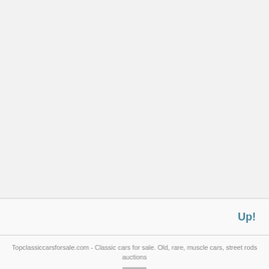Up!
Topclassiccarsforsale.com - Classic cars for sale. Old, rare, muscle cars, street rods auctions